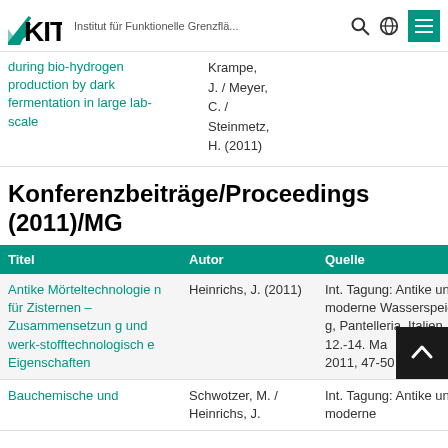KIT — Institut für Funktionelle Grenzflä...
during bio-hydrogen production by dark fermentation in large lab-scale | Krampe, J. / Meyer, C. / Steinmetz, H. (2011)
Konferenzbeiträge/Proceedings (2011)/MG
| Titel | Autor | Quelle |
| --- | --- | --- |
| Antike Mörteltechnologien für Zisternen – Zusammensetzung und werk-stofftechnologische Eigenschaften | Heinrichs, J. (2011) | Int. Tagung: Antike und moderne Wasserspeicherung, Pantelleria, Italien, 12.-14. Mai 2011, 47-50 |
| Bauchemische und | Schwotzer, M. / Heinrichs, J. | Int. Tagung: Antike und moderne |